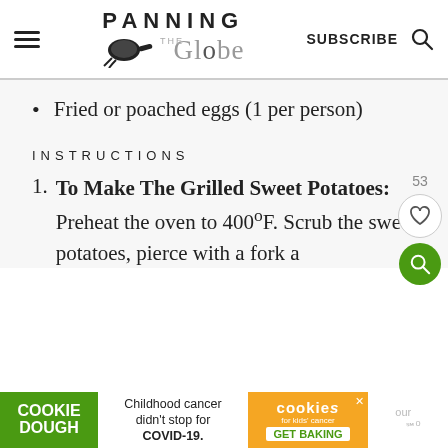PANNING THE Globe | SUBSCRIBE
Fried or poached eggs (1 per person)
INSTRUCTIONS
To Make The Grilled Sweet Potatoes: Preheat the oven to 400ºF. Scrub the sweet potatoes, pierce with a fork a
[Figure (other): Advertisement banner: Cookie Dough — Childhood cancer didn't stop for COVID-19. Cookies for Kids' Cancer GET BAKING.]